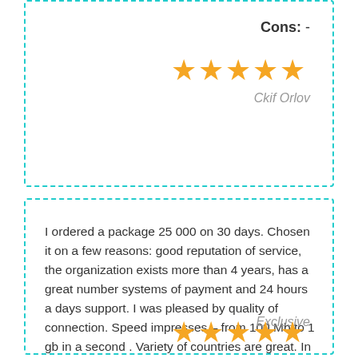Cons:  -
[Figure (other): 5 gold star rating icons]
Ckif Orlov
I ordered a package 25 000 on 30 days. Chosen it on a few reasons: good reputation of service, the organization exists more than 4 years, has a great number systems of payment and 24 hours a days support. I was pleased by quality of connection. Speed impresses – from 100 Mb to 1 gb in a second . Variety of countries are great. In anonymity of addresses I am not doubt. I use a package already a month. During this time I had no any precipices of connection. I appealed to support only once. I recommend this proxies.
Exclusive
[Figure (other): 5 gold star rating icons (partial view at bottom)]